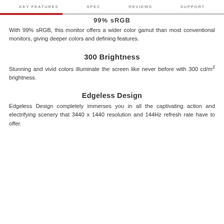KEY FEATURES   SPEC   REVIEWS   SUPPORT
99% sRGB
With 99% sRGB, this monitor offers a wider color gamut than most conventional monitors, giving deeper colors and defining features.
300 Brightness
Stunning and vivid colors illuminate the screen like never before with 300 cd/m² brightness.
Edgeless Design
Edgeless Design completely immerses you in all the captivating action and electrifying scenery that 3440 x 1440 resolution and 144Hz refresh rate have to offer.